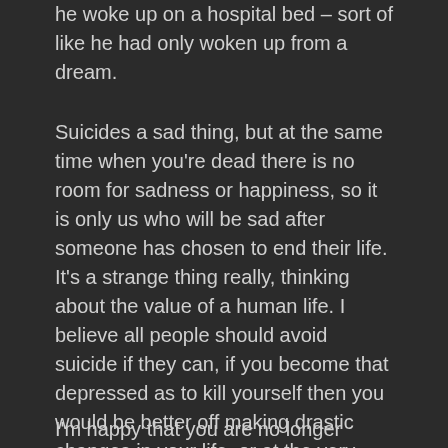he woke up on a hospital bed – sort of like he had only woken up from a dream.
Suicides a sad thing, but at the same time when you're dead there is no room for sadness or happiness, so it is only us who will be sad after someone has chosen to end their life. It's a strange thing really, thinking about the value of a human life. I believe all people should avoid suicide if they can, if you become that depressed as to kill yourself then you would be better off making drastic changes in your life, or at the very least you should attempt to make peace/do the things you wish you could do but never did, before you go through with the plan. You are given consciousness and a body to make the most of it.
I'm happy that you are no longer thinking